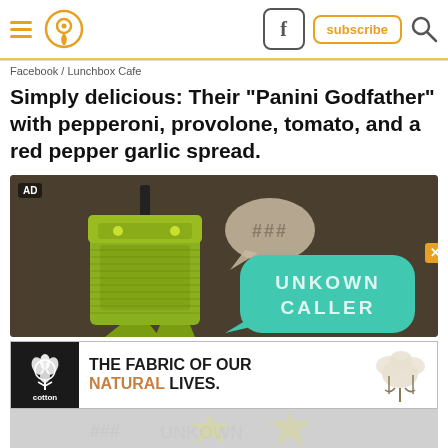Navigation bar with hamburger menu, pin/location icon, Facebook button, subscribe button, and search icon
Facebook / Lunchbox Cafe
Simply delicious: Their "Panini Godfather" with pepperoni, provolone, tomato, and a red pepper garlic spread.
[Figure (illustration): Advertisement showing a 3D green robot-like character with speech bubbles. One smaller beige bubble shows '###' text and a large teal bubble shows 'UNKOWN CALLER' in dot-matrix lettering. Background is dark olive/brown. AD label visible in top-left corner. An 'X' close button is partially visible on the right edge.]
[Figure (illustration): Cotton Inc. banner advertisement. Black square with cotton logo on left, bold text 'THE FABRIC OF OUR NATURAL LIVES.' where NATURAL is in orange/tan color. Cotton bolls illustration on the right.]
[Figure (illustration): Partially visible bottom of page showing light gray background with faint yellow star and other graphic elements.]